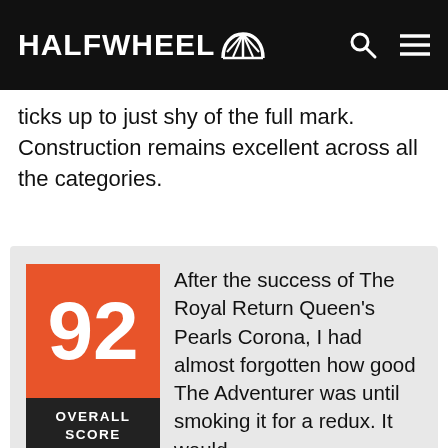HALFWHEEL
ticks up to just shy of the full mark. Construction remains excellent across all the categories.
[Figure (infographic): Score box showing 92 OVERALL SCORE on orange/black background, with review text to the right: 'After the success of The Royal Return Queen's Pearls Corona, I had almost forgotten how good The Adventurer was until smoking it for a redux. It would be too easy to call the cigar an adventure in flavor, but I have to say that the blend does chart an impressive course from start to finish. As noted above, it starts with a rich and creamy']